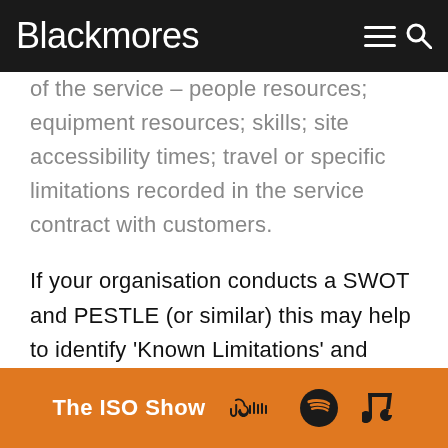Blackmores
of the service – people resources; equipment resources; skills; site accessibility times; travel or specific limitations recorded in the service contract with customers.
If your organisation conducts a SWOT and PESTLE (or similar) this may help to identify 'Known Limitations' and risks to the services being delivered.
Any changes in your organisation must be prioritised; further information on this will be
The ISO Show